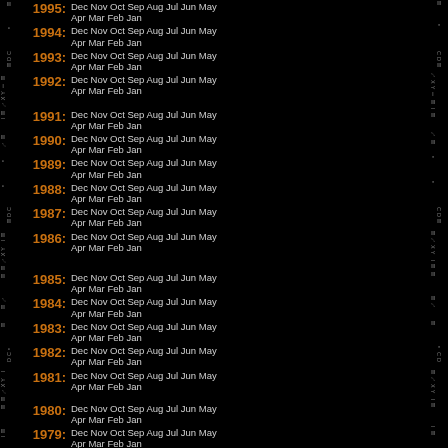1995: Dec Nov Oct Sep Aug Jul Jun May Apr Mar Feb Jan
1994: Dec Nov Oct Sep Aug Jul Jun May Apr Mar Feb Jan
1993: Dec Nov Oct Sep Aug Jul Jun May Apr Mar Feb Jan
1992: Dec Nov Oct Sep Aug Jul Jun May Apr Mar Feb Jan
1991: Dec Nov Oct Sep Aug Jul Jun May Apr Mar Feb Jan
1990: Dec Nov Oct Sep Aug Jul Jun May Apr Mar Feb Jan
1989: Dec Nov Oct Sep Aug Jul Jun May Apr Mar Feb Jan
1988: Dec Nov Oct Sep Aug Jul Jun May Apr Mar Feb Jan
1987: Dec Nov Oct Sep Aug Jul Jun May Apr Mar Feb Jan
1986: Dec Nov Oct Sep Aug Jul Jun May Apr Mar Feb Jan
1985: Dec Nov Oct Sep Aug Jul Jun May Apr Mar Feb Jan
1984: Dec Nov Oct Sep Aug Jul Jun May Apr Mar Feb Jan
1983: Dec Nov Oct Sep Aug Jul Jun May Apr Mar Feb Jan
1982: Dec Nov Oct Sep Aug Jul Jun May Apr Mar Feb Jan
1981: Dec Nov Oct Sep Aug Jul Jun May Apr Mar Feb Jan
1980: Dec Nov Oct Sep Aug Jul Jun May Apr Mar Feb Jan
1979: Dec Nov Oct Sep Aug Jul Jun May Apr Mar Feb Jan
1978: Dec Nov Oct Sep Aug Jul Jun May Apr Mar Feb Jan
1977: Dec Nov Oct Sep Aug Jul Jun May Apr Mar Feb Jan